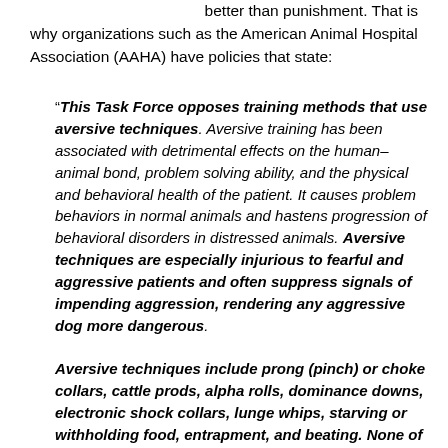better than punishment. That is why organizations such as the American Animal Hospital Association (AAHA) have policies that state:
“This Task Force opposes training methods that use aversive techniques. Aversive training has been associated with detrimental effects on the human–animal bond, problem solving ability, and the physical and behavioral health of the patient. It causes problem behaviors in normal animals and hastens progression of behavioral disorders in distressed animals. Aversive techniques are especially injurious to fearful and aggressive patients and often suppress signals of impending aggression, rendering any aggressive dog more dangerous.
Aversive techniques include prong (pinch) or choke collars, cattle prods, alpha rolls, dominance downs, electronic shock collars, lunge whips, starving or withholding food, entrapment, and beating. None of